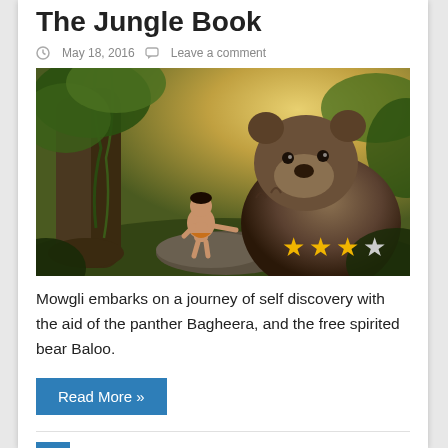The Jungle Book
May 18, 2016   Leave a comment
[Figure (photo): Movie still from The Jungle Book showing Mowgli sitting on a rock next to a large bear (Baloo) in a lush jungle setting, with 3 out of 4 stars rating overlay]
Mowgli embarks on a journey of self discovery with the aid of the panther Bagheera, and the free spirited bear Baloo.
Read More »
1  2  »  Page 1 of 2
SOCIAL